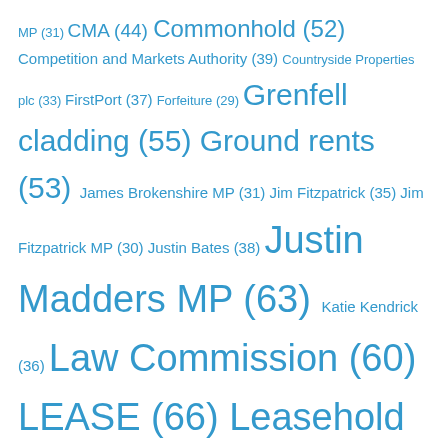MP (31) CMA (44) Commonhold (52) Competition and Markets Authority (39) Countryside Properties plc (33) FirstPort (37) Forfeiture (29) Grenfell cladding (55) Ground rents (53) James Brokenshire MP (31) Jim Fitzpatrick (35) Jim Fitzpatrick MP (30) Justin Bates (38) Justin Madders MP (63) Katie Kendrick (36) Law Commission (60) LEASE (66) Leasehold Advisory Service (62) Leasehold houses (32) Long Harbour (45) Martin Boyd (79) McCarthy and Stone (39) National Leasehold Campaign (38) Persimmon (49) Peverel (61) Property tribunal (49) Redrow (30) Retirement (37) Robert Jenrick (33) Roger Southam (47) Sajid Javid (38) Sebastian O'Kelly (55) Sir Peter Bottomley (197) Taylor